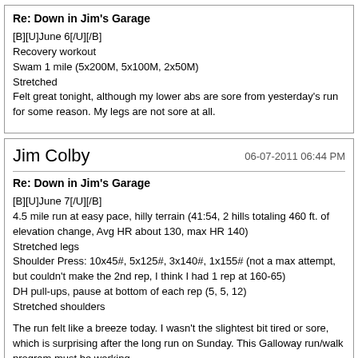Re: Down in Jim's Garage

[B][U]June 6[/U][/B]
Recovery workout
Swam 1 mile (5x200M, 5x100M, 2x50M)
Stretched
Felt great tonight, although my lower abs are sore from yesterday's run for some reason. My legs are not sore at all.
Jim Colby 06-07-2011 06:44 PM

Re: Down in Jim's Garage

[B][U]June 7[/U][/B]
4.5 mile run at easy pace, hilly terrain (41:54, 2 hills totaling 460 ft. of elevation change, Avg HR about 130, max HR 140)
Stretched legs
Shoulder Press: 10x45#, 5x125#, 3x140#, 1x155# (not a max attempt, but couldn't make the 2nd rep, I think I had 1 rep at 160-65)
DH pull-ups, pause at bottom of each rep (5, 5, 12)
Stretched shoulders

The run felt like a breeze today. I wasn't the slightest bit tired or sore, which is surprising after the long run on Sunday. This Galloway run/walk program must be working.
Jim Colby